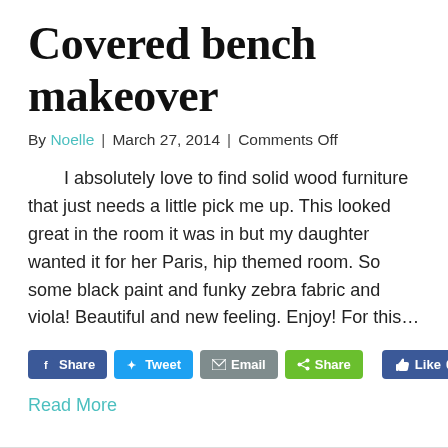Covered bench makeover
By Noelle | March 27, 2014 | Comments Off
I absolutely love to find solid wood furniture that just needs a little pick me up.  This looked great in the room it was in but my daughter wanted it for her Paris, hip themed room. So some black paint and funky zebra fabric and viola! Beautiful and new feeling.  Enjoy! For this…
Read More